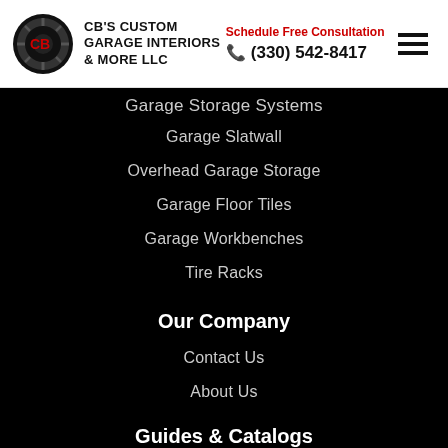CB'S CUSTOM GARAGE INTERIORS & MORE LLC | Schedule Free Consultation | (330) 542-8417
Garage Storage Systems
Garage Slatwall
Overhead Garage Storage
Garage Floor Tiles
Garage Workbenches
Tire Racks
Our Company
Contact Us
About Us
Guides & Catalogs